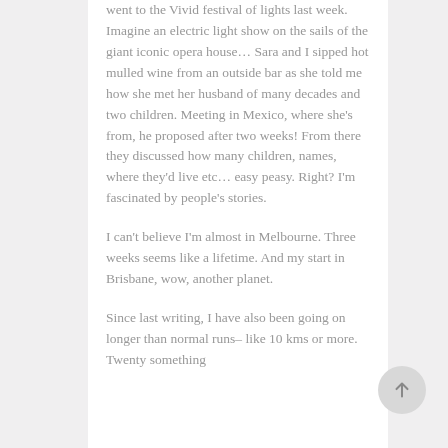went to the Vivid festival of lights last week. Imagine an electric light show on the sails of the giant iconic opera house... Sara and I sipped hot mulled wine from an outside bar as she told me how she met her husband of many decades and two children. Meeting in Mexico, where she's from, he proposed after two weeks! From there they discussed how many children, names, where they'd live etc... easy peasy. Right? I'm fascinated by people's stories.
I can't believe I'm almost in Melbourne. Three weeks seems like a lifetime. And my start in Brisbane, wow, another planet.
Since last writing, I have also been going on longer than normal runs– like 10 kms or more. Twenty something